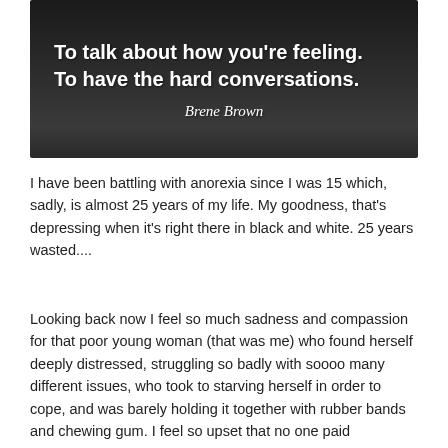[Figure (illustration): Dark background quote image with text: 'To talk about how you're feeling. To have the hard conversations.' attributed to Brene Brown]
I have been battling with anorexia since I was 15 which, sadly, is almost 25 years of my life. My goodness, that's depressing when it's right there in black and white. 25 years wasted....
Looking back now I feel so much sadness and compassion for that poor young woman (that was me) who found herself deeply distressed, struggling so badly with soooo many different issues, who took to starving herself in order to cope, and was barely holding it together with rubber bands and chewing gum. I feel so upset that no one paid